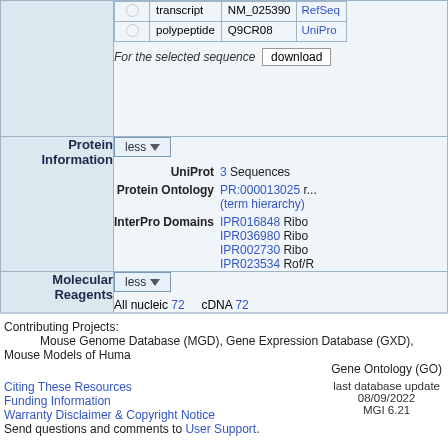|  | type | accession | link |
| --- | --- | --- | --- |
| ○ | transcript | NM_025390 | RefSeq |
| ○ | polypeptide | Q9CR08 | UniProt |
For the selected sequence  [download]
Protein Information
UniProt  3 Sequences
Protein Ontology  PR:000013025 r... (term hierarchy)
InterPro Domains  IPR016848 Ribo... IPR036980 Ribo... IPR002730 Ribo... IPR023534 Rof/R...
Molecular Reagents
All nucleic 72   cDNA 72   Microarray probesets 5
References
Summaries  All 33   D...  Gene Ontology 4...
Contributing Projects:
  Mouse Genome Database (MGD), Gene Expression Database (GXD), Mouse Models of Huma...
  Gene Ontology (GO)
Citing These Resources
Funding Information
Warranty Disclaimer & Copyright Notice
Send questions and comments to User Support.
last database update 08/09/2022  MGI 6.21